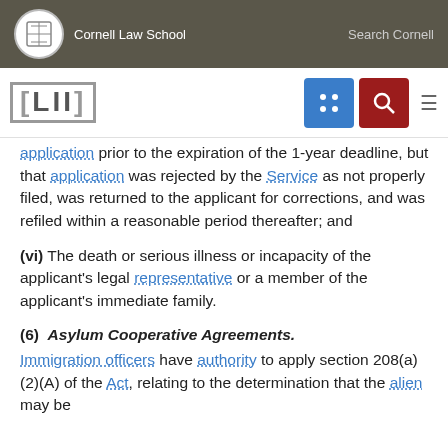Cornell Law School  Search Cornell
application prior to the expiration of the 1-year deadline, but that application was rejected by the Service as not properly filed, was returned to the applicant for corrections, and was refiled within a reasonable period thereafter; and
(vi) The death or serious illness or incapacity of the applicant's legal representative or a member of the applicant's immediate family.
(6) Asylum Cooperative Agreements.
Immigration officers have authority to apply section 208(a)(2)(A) of the Act, relating to the determination that the alien may be